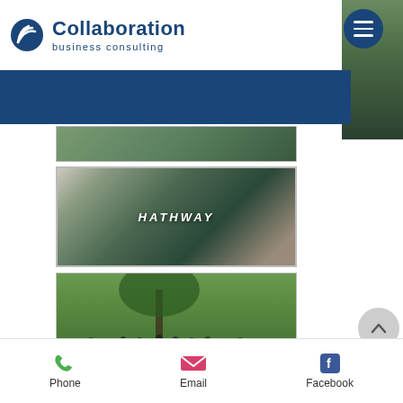[Figure (logo): Collaboration business consulting logo with blue fan/wing icon]
[Figure (screenshot): Mobile website screenshot showing a nature/landscape photo at top]
[Figure (photo): Hathway branded image showing a card/print with mountain landscape and HATHWAY text]
[Figure (photo): Group photo of approximately 25 people standing outdoors under a tree on green grass]
Phone   Email   Facebook